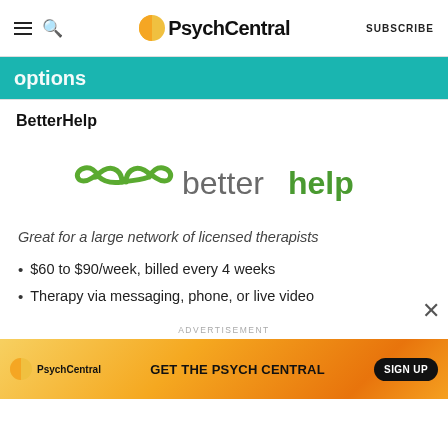PsychCentral | SUBSCRIBE
[Figure (other): Teal banner with partial text reading 'options']
BetterHelp
[Figure (logo): BetterHelp logo with green infinity arrow icon and text 'betterhelp' in green]
Great for a large network of licensed therapists
$60 to $90/week, billed every 4 weeks
Therapy via messaging, phone, or live video
ADVERTISEMENT
[Figure (screenshot): PsychCentral advertisement banner: GET THE PSYCH CENTRAL | SIGN UP]